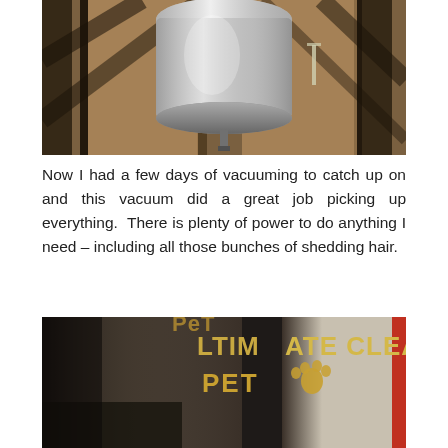[Figure (photo): Top-down view of a silver/metallic vacuum cleaner on a wooden deck with dark stained boards, bright sunlight casting shadows.]
Now I had a few days of vacuuming to catch up on and this vacuum did a great job picking up everything.  There is plenty of power to do anything I need – including all those bunches of shedding hair.
[Figure (photo): Close-up photo of a vacuum cleaner canister showing the text 'ULTIMATE CLEAN PET' with a paw print icon in gold/bronze lettering on a metallic surface.]